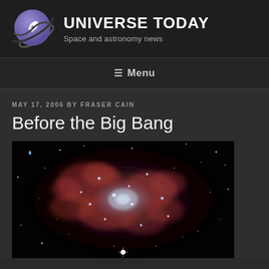UNIVERSE TODAY — Space and astronomy news
≡ Menu
MAY 17, 2006 BY FRASER CAIN
Before the Big Bang
[Figure (photo): Astronomical photograph showing a galaxy with red nebular regions and bright blue-white stars scattered across a dark background — likely a spiral or irregular galaxy imaged in multiple wavelengths.]